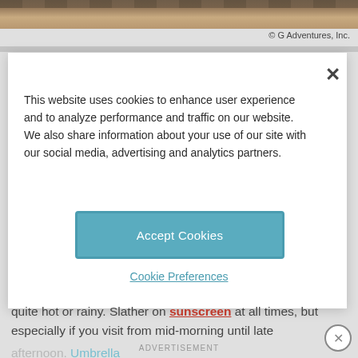[Figure (photo): Partial view of a stone or brick architectural structure, brownish tones at the top of the page]
© G Adventures, Inc.
This website uses cookies to enhance user experience and to analyze performance and traffic on our website. We also share information about your use of our site with our social media, advertising and analytics partners.
Accept Cookies
Cookie Preferences
quite hot or rainy. Slather on sunscreen at all times, but especially if you visit from mid-morning until late afternoon. Umbrellas during monsoon season, are allowed inside the gates.
ADVERTISEMENT